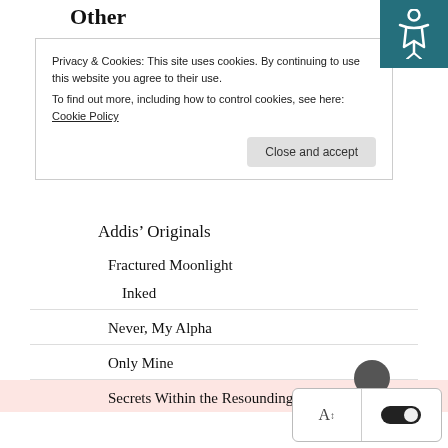Other
Privacy & Cookies: This site uses cookies. By continuing to use this website you agree to their use.
To find out more, including how to control cookies, see here: Cookie Policy
Close and accept
Addis’ Originals
Fractured Moonlight
Inked
Never, My Alpha
Only Mine
Secrets Within the Resounding Sound